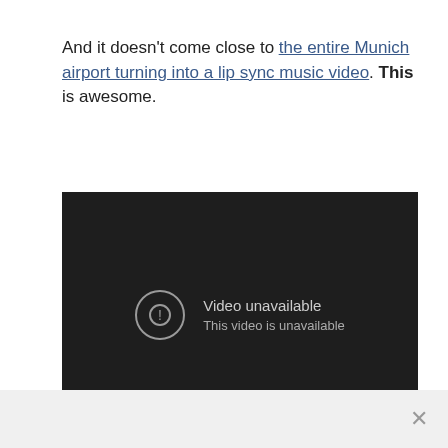And it doesn't come close to the entire Munich airport turning into a lip sync music video. This is awesome.
[Figure (screenshot): An embedded video player showing a 'Video unavailable' error message with an exclamation mark icon and the text 'This video is unavailable' on a dark background.]